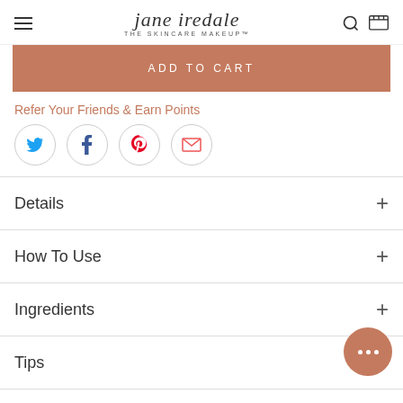jane iredale THE SKINCARE MAKEUP
ADD TO CART
Refer Your Friends & Earn Points
[Figure (other): Social sharing icons: Twitter, Facebook, Pinterest, Email — each in a circle outline]
Details
How To Use
Ingredients
Tips
[Figure (other): Chat support bubble with three dots, terracotta/rosewood colored circle, bottom right corner]